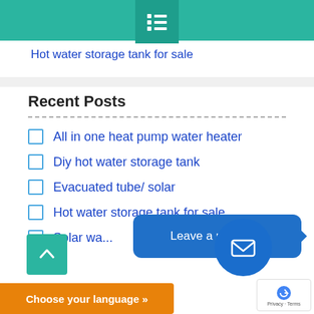Hot water storage tank for sale
Recent Posts
All in one heat pump water heater
Diy hot water storage tank
Evacuated tube/ solar
Hot water storage tank for sale
Solar wa...
Leave a message
Choose your language »
Privacy · Terms